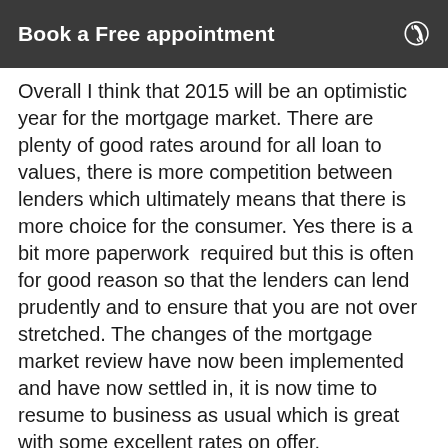Book a Free appointment
Overall I think that 2015 will be an optimistic year for the mortgage market. There are plenty of good rates around for all loan to values, there is more competition between lenders which ultimately means that there is more choice for the consumer. Yes there is a bit more paperwork  required but this is often for good reason so that the lenders can lend prudently and to ensure that you are not over stretched. The changes of the mortgage market review have now been implemented and have now settled in, it is now time to resume to business as usual which is great with some excellent rates on offer.